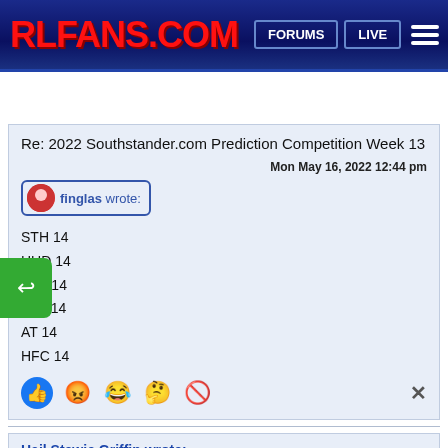RLFANS.COM — FORUMS | LIVE
Re: 2022 Southstander.com Prediction Competition Week 13
Mon May 16, 2022 12:44 pm
finglas wrote:
STH 14
HUD 14
LEE 14
SAL 14
AT 14
HFC 14
Hail Stewie Griffin wrote:
All dumbies these Irish folk...